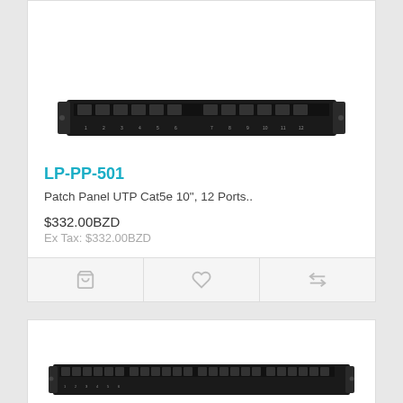[Figure (photo): Patch panel product image - LP-PP-501 UTP Cat5e 10-inch 12 port patch panel, black, top view]
LP-PP-501
Patch Panel UTP Cat5e 10", 12 Ports..
$332.00BZD
Ex Tax: $332.00BZD
[Figure (photo): Second patch panel product image - larger 24-port patch panel, black, front view]